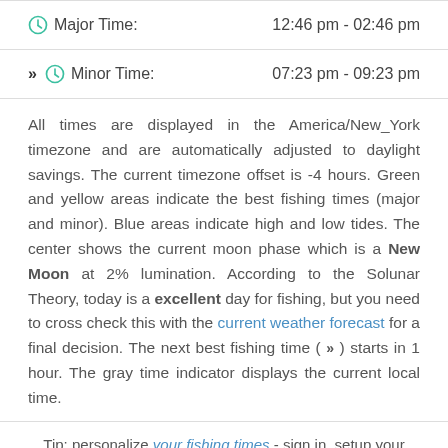Major Time: 12:46 pm - 02:46 pm
» Minor Time: 07:23 pm - 09:23 pm
All times are displayed in the America/New_York timezone and are automatically adjusted to daylight savings. The current timezone offset is -4 hours. Green and yellow areas indicate the best fishing times (major and minor). Blue areas indicate high and low tides. The center shows the current moon phase which is a New Moon at 2% lumination. According to the Solunar Theory, today is a excellent day for fishing, but you need to cross check this with the current weather forecast for a final decision. The next best fishing time ( » ) starts in 1 hour. The gray time indicator displays the current local time.
Tip: personalize your fishing times - sign in, setup your